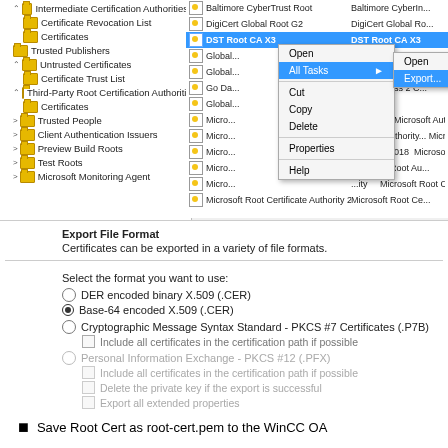[Figure (screenshot): Windows Certificate Manager screenshot showing left tree panel with certificate stores (Intermediate Certification Authorities, Certificate Revocation List, Certificates, Trusted Publishers, Untrusted Certificates, Certificate Trust List, Third-Party Root Certification Authorities, Certificates, Trusted People, Client Authentication Issuers, Preview Build Roots, Test Roots, Microsoft Monitoring Agent) and right list panel with certificates (Baltimore CyberTrust Root, DigiCert Global Root G2, DST Root CA X3 highlighted, GlobalSign entries, Go Daddy, Microsoft entries). A right-click context menu shows Open, All Tasks (with submenu: Open, Export...), Cut, Copy, Delete, Properties, Help.]
Export File Format
Certificates can be exported in a variety of file formats.
Select the format you want to use:
DER encoded binary X.509 (.CER)
Base-64 encoded X.509 (.CER)
Cryptographic Message Syntax Standard - PKCS #7 Certificates (.P7B)
Include all certificates in the certification path if possible
Personal Information Exchange - PKCS #12 (.PFX)
Include all certificates in the certification path if possible
Delete the private key if the export is successful
Export all extended properties
Save Root Cert as root-cert.pem to the WinCC OA